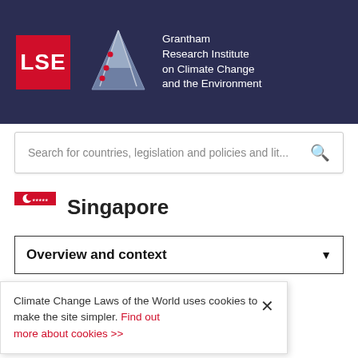[Figure (logo): LSE and Grantham Research Institute on Climate Change and the Environment logo on dark navy background]
Search for countries, legislation and policies and lit...
Singapore
Overview and context
Climate Change Laws of the World uses cookies to make the site simpler. Find out more about cookies >>
Sustainable Singapore Blueprint